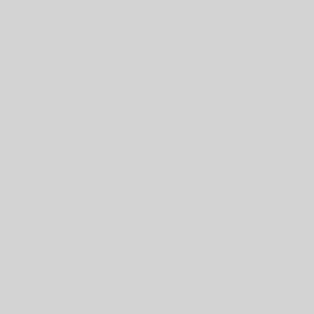| Label | Value | Extra |
| --- | --- | --- |
|  | maintainers@lists |  |
| Uploaders: | Krzysztof Krzyżan
herrmann <grego
<segre@debian.o
Rene Mayorga <r
<ntyni@iki.fi> |  |
| Binary: | libmoose-perl:all | pi
re |
| libnamespace- |  |  |
| Source: | libnamespace-clean-perl | pi
su |
| Maintainer: | Debian Perl Group
maintainers@lists |  |
| Uploaders: | Damyan Ivanov <
<rmayorga@debia |  |
| Binary: | libnamespace-clean-perl:all | pi
re |
| libnet-blueto |  |  |
| Source: | libnet- | pi |